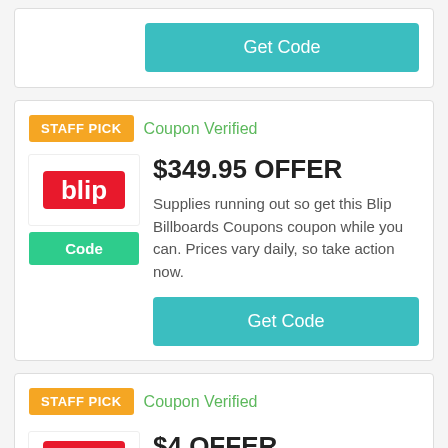[Figure (other): Get Code button (teal) — top of page, part of a coupon card cut off at top]
[Figure (other): Staff Pick badge (orange) with Coupon Verified label (green), Blip Billboards logo with red text, Code button (green), $349.95 OFFER heading, description text, and Get Code button (teal)]
$349.95 OFFER
Supplies running out so get this Blip Billboards Coupons coupon while you can. Prices vary daily, so take action now.
[Figure (other): Staff Pick badge (orange) with Coupon Verified label (green), partial logo, $4 OFFER heading — bottom card cut off]
$4 OFFER